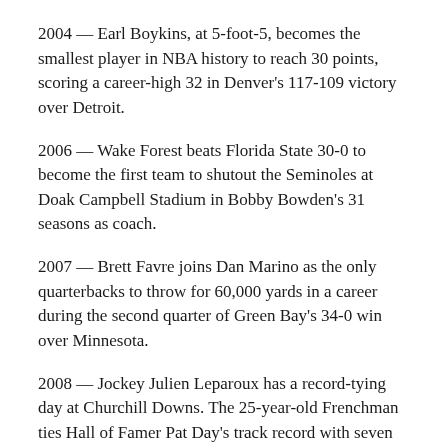2004 — Earl Boykins, at 5-foot-5, becomes the smallest player in NBA history to reach 30 points, scoring a career-high 32 in Denver's 117-109 victory over Detroit.
2006 — Wake Forest beats Florida State 30-0 to become the first team to shutout the Seminoles at Doak Campbell Stadium in Bobby Bowden's 31 seasons as coach.
2007 — Brett Favre joins Dan Marino as the only quarterbacks to throw for 60,000 yards in a career during the second quarter of Green Bay's 34-0 win over Minnesota.
2008 — Jockey Julien Leparoux has a record-tying day at Churchill Downs. The 25-year-old Frenchman ties Hall of Famer Pat Day's track record with seven wins. Day set the record on June 20, 1984.